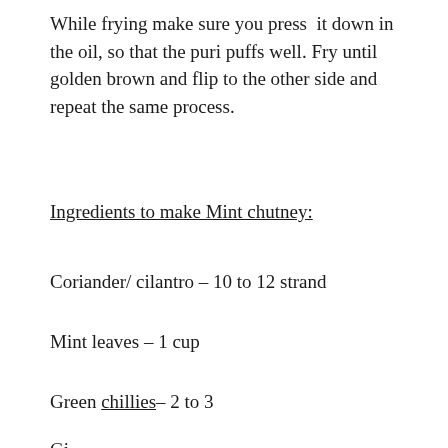While frying make sure you press it down in the oil, so that the puri puffs well. Fry until golden brown and flip to the other side and repeat the same process.
Ingredients to make Mint chutney:
Coriander/ cilantro – 10 to 12 strand
Mint leaves – 1 cup
Green chillies– 2 to 3
Ginger 1 inch piece